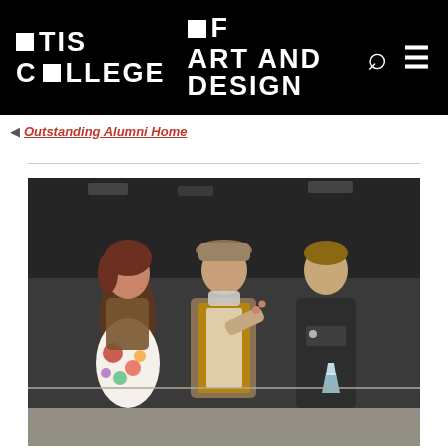OTIS COLLEGE OF ART AND DESIGN
Outstanding Alumni Home
[Figure (photo): Three people standing on a stage. A woman on the left wearing a floral skirt and tank top, a man in the center wearing a hat and layered clothing making a gesture, and a man on the right in a dark sweater holding what appears to be an award.]